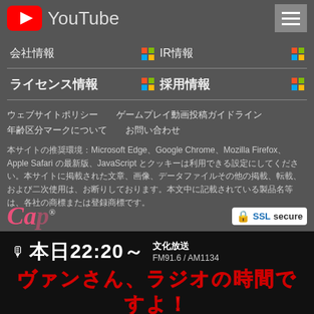[Figure (screenshot): YouTube logo icon (red rounded square with white play button) and YouTube text header with hamburger menu]
会社情報
IR情報
ライセンス情報
採用情報
ウェブサイトポリシー　ゲームプレイ動画投稿ガイドライン
年齢区分マークについて　お問い合わせ
本サイトの推奨環境：Microsoft Edge、Google Chrome、Mozilla Firefox、Apple Safari の最新版、JavaScript とクッキーは利用できる設定にしてください。本サイトに掲載された文章、画像、データファイルその他の掲載、転載、および二次使用は、お断りしております。本文中に記載されている製品名等は、各社の商標または登録商標です。
[Figure (logo): Capcom logo in pink italic text with registered trademark symbol, and SSL secure badge]
🎙 本日22:20～　文化放送 FM91.6 / AM1134
ヴァンさん、ラジオの時間ですよ！